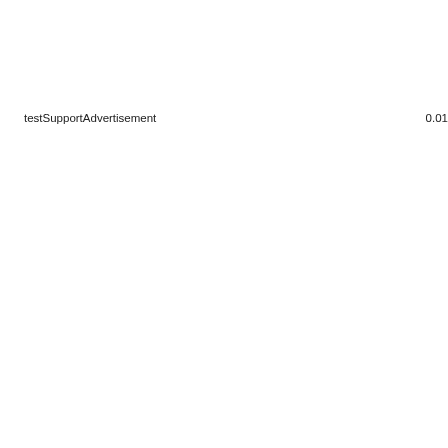testSupportAdvertisement    0.01